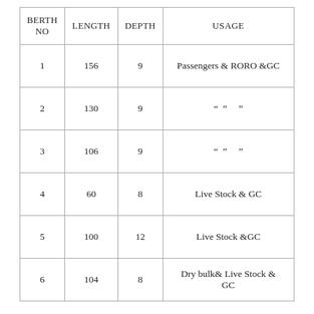| BERTH NO | LENGTH | DEPTH | USAGE |
| --- | --- | --- | --- |
| 1 | 156 | 9 | Passengers & RORO &GC |
| 2 | 130 | 9 | “ ” ” |
| 3 | 106 | 9 | “ ” ” |
| 4 | 60 | 8 | Live Stock & GC |
| 5 | 100 | 12 | Live Stock &GC |
| 6 | 104 | 8 | Dry bulk& Live Stock & GC |